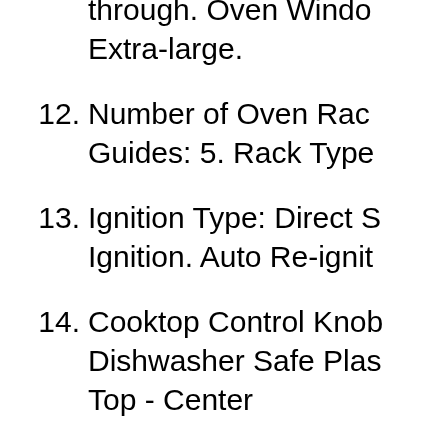through. Oven Window: Extra-large.
12. Number of Oven Rack Guides: 5. Rack Type
13. Ignition Type: Direct S Ignition. Auto Re-ignit
14. Cooktop Control Knob Dishwasher Safe Plas Top - Center
15. Cooktop Element Sty